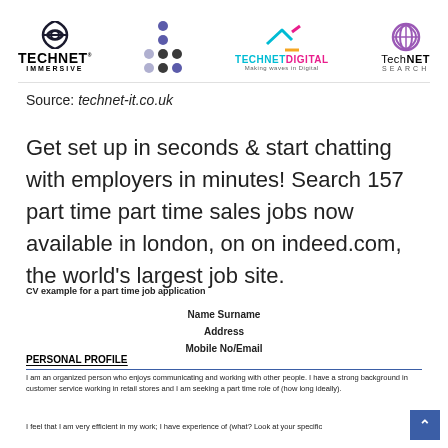[Figure (logo): Four logos: TechNet Immersive, dots pattern, TechNet Digital, TechNET Search]
Source: technet-it.co.uk
Get set up in seconds & start chatting with employers in minutes! Search 157 part time part time sales jobs now available in london, on on indeed.com, the world's largest job site.
CV example for a part time job application
Name Surname
Address
Mobile No/Email
PERSONAL PROFILE
I am an organized person who enjoys communicating and working with other people. I have a strong background in customer service working in retail stores and I am seeking a part time role of (how long ideally).
I feel that I am very efficient in my work; I have experience of (what? Look at your specific